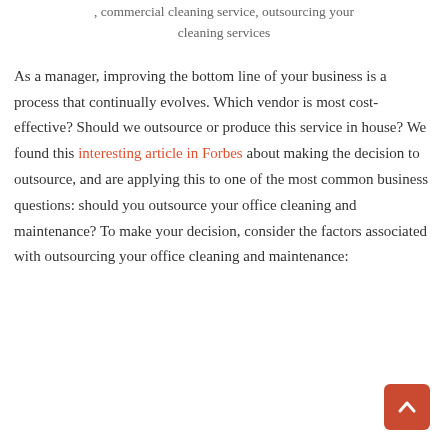, commercial cleaning service, outsourcing your cleaning services
As a manager, improving the bottom line of your business is a process that continually evolves. Which vendor is most cost-effective? Should we outsource or produce this service in house? We found this interesting article in Forbes about making the decision to outsource, and are applying this to one of the most common business questions: should you outsource your office cleaning and maintenance? To make your decision, consider the factors associated with outsourcing your office cleaning and maintenance: